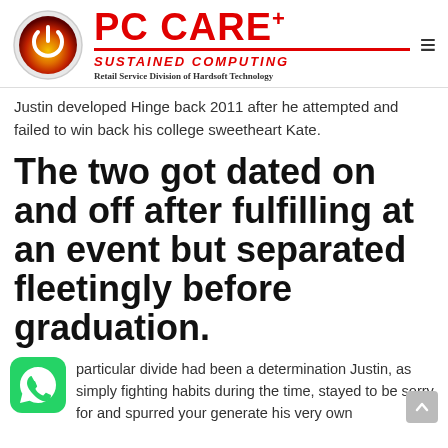PC CARE+ SUSTAINED COMPUTING Retail Service Division of Hardsoft Technology
Justin developed Hinge back 2011 after he attempted and failed to win back his college sweetheart Kate.
The two got dated on and off after fulfilling at an event but separated fleetingly before graduation.
particular divide had been a determination Justin, as simply fighting habits during the time, stayed to be sorry for and spurred your generate his very own